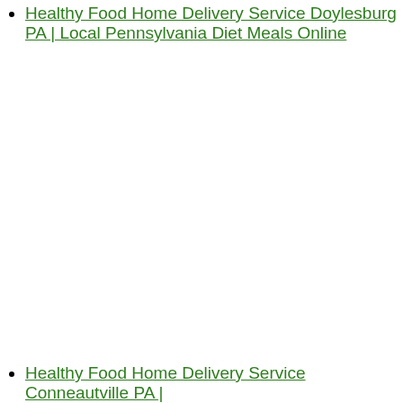Healthy Food Home Delivery Service Doylesburg PA | Local Pennsylvania Diet Meals Online
Healthy Food Home Delivery Service Conneautville PA |